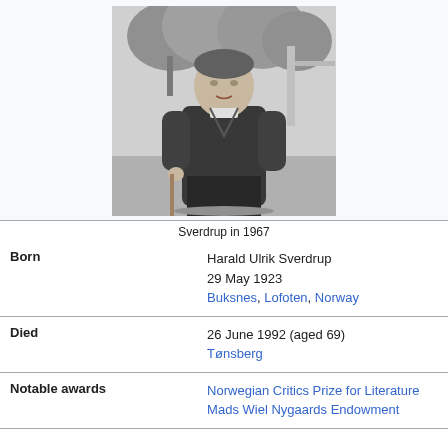[Figure (photo): Black and white photograph of Harald Ulrik Sverdrup standing outdoors in 1967, wearing a dark v-neck sweater and light shirt, holding what appears to a stick or cane, with trees in the background.]
Sverdrup in 1967
| Born | Harald Ulrik Sverdrup
29 May 1923
Buksnes, Lofoten, Norway |
| Died | 26 June 1992 (aged 69)
Tønsberg |
| Notable awards | Norwegian Critics Prize for Literature
Mads Wiel Nygaards Endowment |